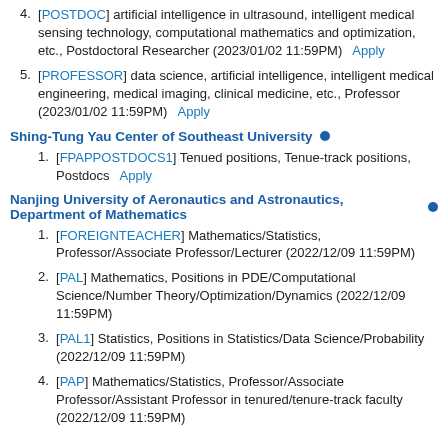[POSTDOC] artificial intelligence in ultrasound, intelligent medical sensing technology, computational mathematics and optimization, etc., Postdoctoral Researcher (2023/01/02 11:59PM)  Apply
[PROFESSOR] data science, artificial intelligence, intelligent medical engineering, medical imaging, clinical medicine, etc., Professor (2023/01/02 11:59PM)  Apply
Shing-Tung Yau Center of Southeast University
[FPAPPOSTDOCS1] Tenued positions, Tenue-track positions, Postdocs  Apply
Nanjing University of Aeronautics and Astronautics, Department of Mathematics
[FOREIGNTEACHER] Mathematics/Statistics, Professor/Associate Professor/Lecturer (2022/12/09 11:59PM)
[PAL] Mathematics, Positions in PDE/Computational Science/Number Theory/Optimization/Dynamics (2022/12/09 11:59PM)
[PAL1] Statistics, Positions in Statistics/Data Science/Probability (2022/12/09 11:59PM)
[PAP] Mathematics/Statistics, Professor/Associate Professor/Assistant Professor in tenured/tenure-track faculty (2022/12/09 11:59PM)